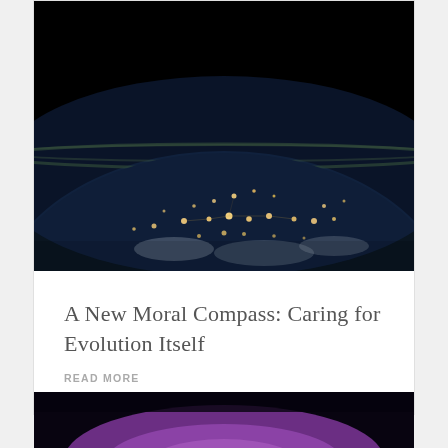[Figure (photo): Photograph of Earth from space at night showing city lights across continents with dark sky above and green atmospheric glow at the horizon]
A New Moral Compass: Caring for Evolution Itself
READ MORE
[Figure (photo): Dark atmospheric photo with purple/violet glowing clouds or light near the horizon against a very dark background]